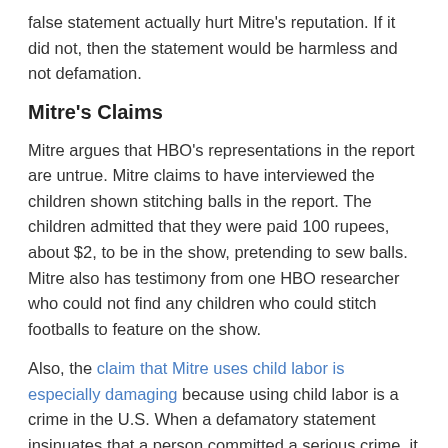false statement actually hurt Mitre's reputation. If it did not, then the statement would be harmless and not defamation.
Mitre's Claims
Mitre argues that HBO's representations in the report are untrue. Mitre claims to have interviewed the children shown stitching balls in the report. The children admitted that they were paid 100 rupees, about $2, to be in the show, pretending to sew balls. Mitre also has testimony from one HBO researcher who could not find any children who could stitch footballs to feature on the show.
Also, the claim that Mitre uses child labor is especially damaging because using child labor is a crime in the U.S. When a defamatory statement insinuates that a person committed a serious crime, it is considered defamation per se. If this is defamation per se, Mitre would not need to prove